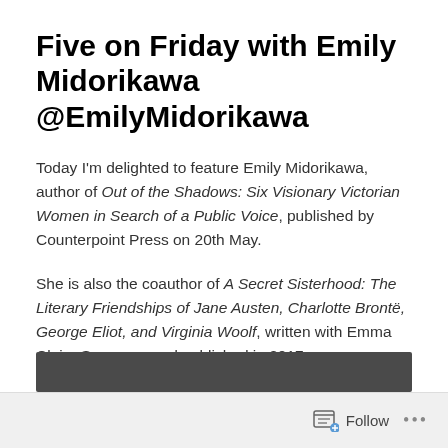Five on Friday with Emily Midorikawa @EmilyMidorikawa
Today I'm delighted to feature Emily Midorikawa, author of Out of the Shadows: Six Visionary Victorian Women in Search of a Public Voice, published by Counterpoint Press on 20th May.
She is also the coauthor of A Secret Sisterhood: The Literary Friendships of Jane Austen, Charlotte Brontë, George Eliot, and Virginia Woolf, written with Emma Claire Sweeney, and published in 2017.
[Figure (photo): Dark gray/black banner image at the bottom of the page, partially visible]
Follow  •••